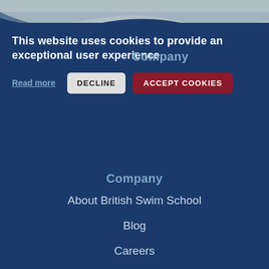This website uses cookies to provide an exceptional user experience.
Read more
DECLINE
ACCEPT COOKIES
Company
About British Swim School
Blog
Careers
Buy a Franchise
Become a Pool Partner
Lessons
Our Programs